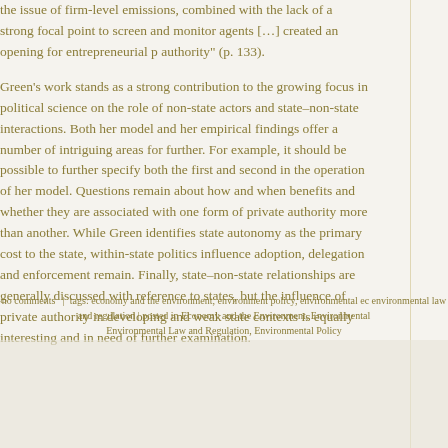the issue of firm-level emissions, combined with the lack of a strong focal point to screen and monitor agents […] created an opening for entrepreneurial p authority" (p. 133).
Green's work stands as a strong contribution to the growing focus in political science on the role of non-state actors and state–non-state interactions. Both her model and her empirical findings offer a number of intriguing areas for further. For example, it should be possible to further specify both the first and second in the operation of her model. Questions remain about how and when benefits and whether they are associated with one form of private authority more than another. While Green identifies state autonomy as the primary cost to the state, within-state politics influence adoption, delegation and enforcement remain. Finally, state–non-state relationships are generally discussed with reference to states, but the influence of private authority in developing and weak state contexts is equally interesting and in need of further examination.
no comments   |  tags: economy and the environment, environment policy, environmental ec environmental law and regulation | posted in Economy and the Environment, Environmental Environmental Law and Regulation, Environmental Policy